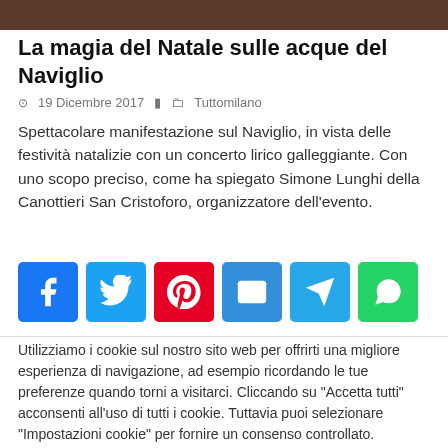[Figure (photo): Dark photo strip at the top of the page, partially visible]
La magia del Natale sulle acque del Naviglio
19 Dicembre 2017   Tuttomilano
Spettacolare manifestazione sul Naviglio, in vista delle festività natalizie con un concerto lirico galleggiante. Con uno scopo preciso, come ha spiegato Simone Lunghi della Canottieri San Cristoforo, organizzatore dell'evento.
[Figure (other): Social share buttons: Facebook, Twitter, Pinterest, Email, Telegram, WhatsApp]
Utilizziamo i cookie sul nostro sito web per offrirti una migliore esperienza di navigazione, ad esempio ricordando le tue preferenze quando torni a visitarci. Cliccando su "Accetta tutti" acconsenti all'uso di tutti i cookie. Tuttavia puoi selezionare "Impostazioni cookie" per fornire un consenso controllato.
Impostazioni cookie   Accetta tutti